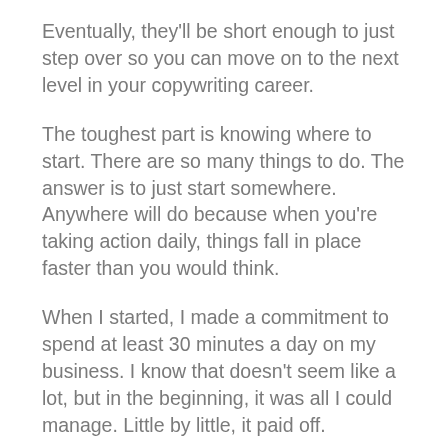Eventually, they’ll be short enough to just step over so you can move on to the next level in your copywriting career.
The toughest part is knowing where to start. There are so many things to do. The answer is to just start somewhere. Anywhere will do because when you’re taking action daily, things fall in place faster than you would think.
When I started, I made a commitment to spend at least 30 minutes a day on my business. I know that doesn’t seem like a lot, but in the beginning, it was all I could manage. Little by little, it paid off.
Based on what I did and how it worked out, I think there are three essential things a